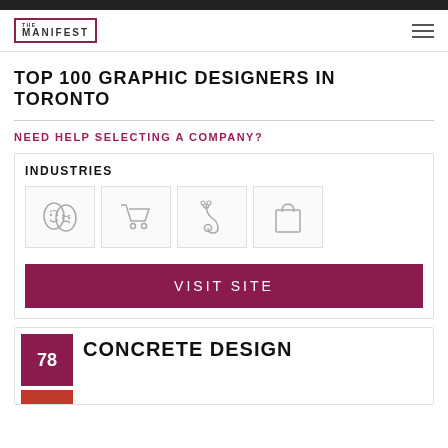THE MANIFEST
TOP 100 GRAPHIC DESIGNERS IN TORONTO
NEED HELP SELECTING A COMPANY?
INDUSTRIES
[Figure (infographic): Four industry icons: theater masks, shopping cart, stethoscope, shopping bag]
VISIT SITE
78
CONCRETE DESIGN